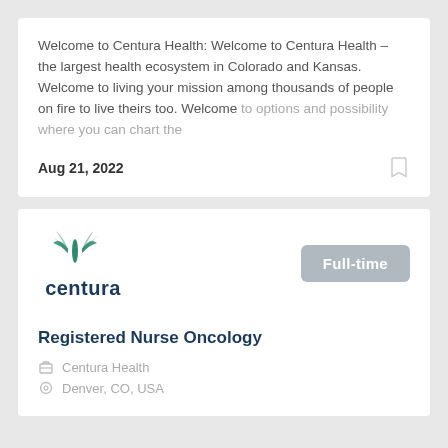Welcome to Centura Health: Welcome to Centura Health – the largest health ecosystem in Colorado and Kansas. Welcome to living your mission among thousands of people on fire to live theirs too. Welcome to options and possibility where you can chart the
Aug 21, 2022
[Figure (logo): Centura health logo with teal dragonfly-like symbol above the word 'centura' in dark navy blue bold text]
Full-time
Registered Nurse Oncology
Centura Health
Denver, CO, USA